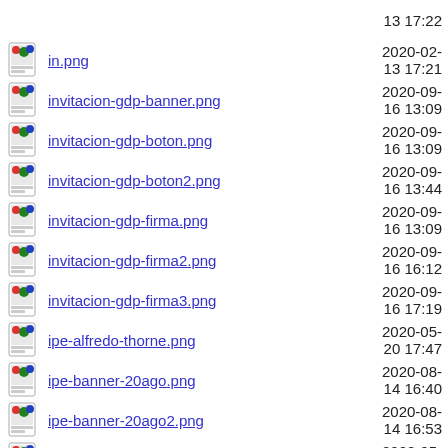in.png — 2020-02-13 17:21
invitacion-gdp-banner.png — 2020-09-16 13:09
invitacion-gdp-boton.png — 2020-09-16 13:09
invitacion-gdp-boton2.png — 2020-09-16 13:44
invitacion-gdp-firma.png — 2020-09-16 13:09
invitacion-gdp-firma2.png — 2020-09-16 16:12
invitacion-gdp-firma3.png — 2020-09-16 17:19
ipe-alfredo-thorne.png — 2020-05-20 17:47
ipe-banner-20ago.png — 2020-08-14 16:40
ipe-banner-20ago2.png — 2020-08-14 16:53
ipe-banner-sem.jpg — 2020-05-11 17:26